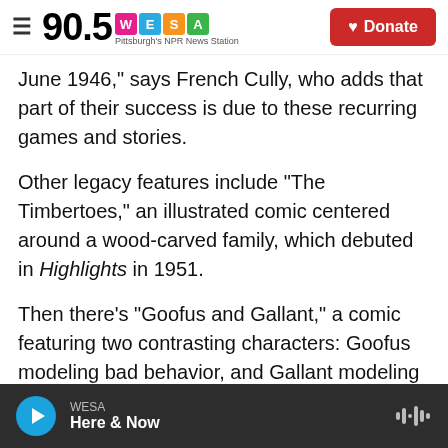90.5 WESA Pittsburgh's NPR News Station | Donate
June 1946," says French Cully, who adds that part of their success is due to these recurring games and stories.
Other legacy features include "The Timbertoes," an illustrated comic centered around a wood-carved family, which debuted in Highlights in 1951.
Then there's "Goofus and Gallant," a comic featuring two contrasting characters: Goofus modeling bad behavior, and Gallant modeling good. They first appeared in the pages of Highlights, as elves, in 1948.
WESA | Here & Now